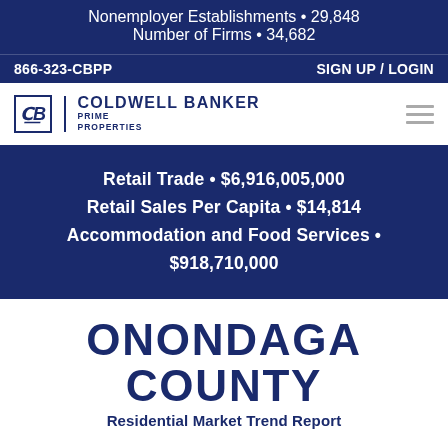Nonemployer Establishments • 29,848
Number of Firms • 34,682
866-323-CBPP    SIGN UP / LOGIN
[Figure (logo): Coldwell Banker Prime Properties logo with hamburger menu icon]
Retail Trade • $6,916,005,000
Retail Sales Per Capita • $14,814
Accommodation and Food Services • $918,710,000
ONONDAGA COUNTY
Residential Market Trend Report